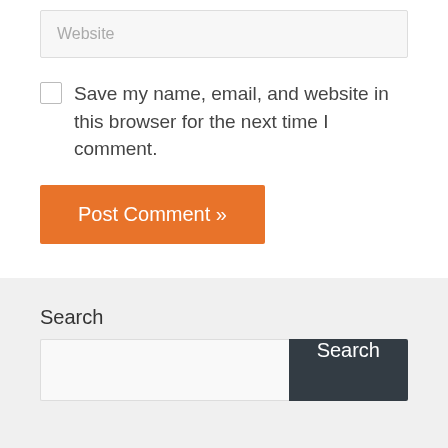Website
Save my name, email, and website in this browser for the next time I comment.
Post Comment »
Search
Search